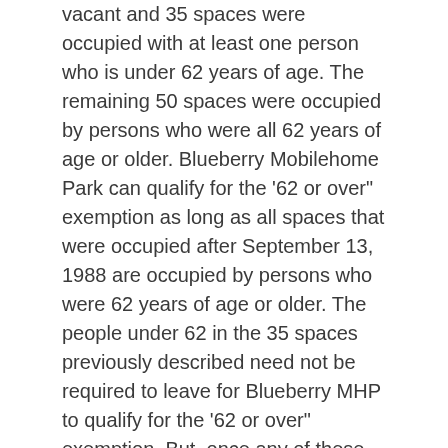vacant and 35 spaces were occupied with at least one person who is under 62 years of age. The remaining 50 spaces were occupied by persons who were all 62 years of age or older. Blueberry Mobilehome Park can qualify for the '62 or over" exemption as long as all spaces that were occupied after September 13, 1988 are occupied by persons who were 62 years of age or older. The people under 62 in the 35 spaces previously described need not be required to leave for Blueberry MHP to qualify for the '62 or over" exemption. But, once any of these spaces sell or becomes vacant the new Homeowners must be 62 or older.